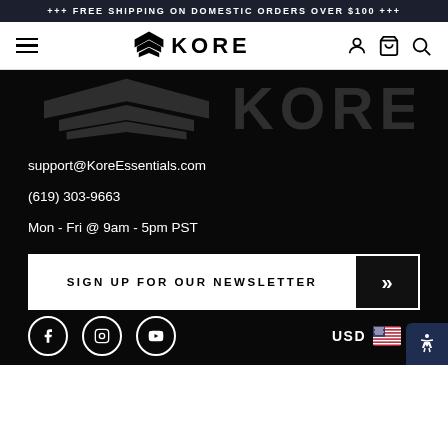+++ FREE SHIPPING ON DOMESTIC ORDERS OVER $100 +++
[Figure (logo): Kore Essentials navigation bar with hamburger menu, Kore logo, and icons for account, cart, and search]
[Figure (logo): Faint watermark of Kore logo on dark background]
support@KoreEssentials.com
(619) 303-9663
Mon - Fri @ 9am - 5pm PST
[Figure (other): SIGN UP FOR OUR NEWSLETTER button with arrow]
[Figure (other): Social media icons for Facebook, Instagram, YouTube and USD currency selector with US flag]